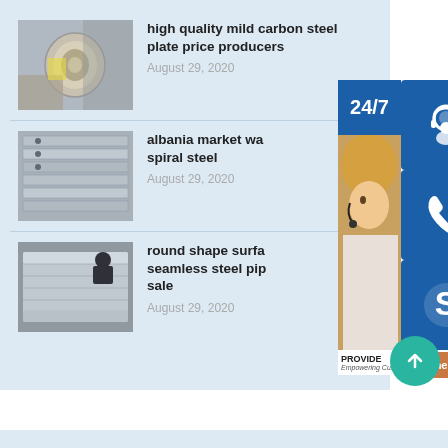[Figure (screenshot): Article listing: high quality mild carbon steel plate price producers, August 29 2020]
high quality mild carbon steel plate price producers
August 29, 2020
[Figure (screenshot): Article listing: albania market wa... spiral steel, August 29 2020]
albania market wa... spiral steel
August 29, 2020
[Figure (screenshot): Article listing: round shape surfa... seamless steel pip... sale, August 29 2020]
round shape surfa... seamless steel pip... sale
August 29, 2020
[Figure (infographic): Customer support sidebar overlay with 24/7 text, headset icon, phone icon, Skype icon, online live button, and teal scroll-up button. Customer service agent photo visible. PROVIDE Empowering Cus... text visible.]